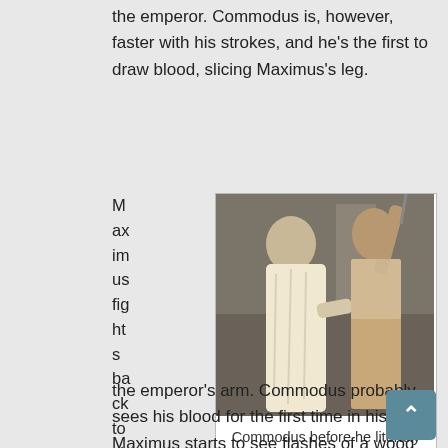the emperor. Commodus is, however, faster with his strokes, and he's the first to draw blood, slicing Maximus's leg.
Maximus fights back to slash
[Figure (photo): Two men in Roman-era costumes facing each other. One in white robes (Commodus) grips the other (Maximus) who is shirtless with one arm raised.]
Commodus before he literally stabs Maximus in the back
the emperor's arm. Commodus probably sees his blood for the first time in his life. Maximus starts to see flashes of a wood door, the gates